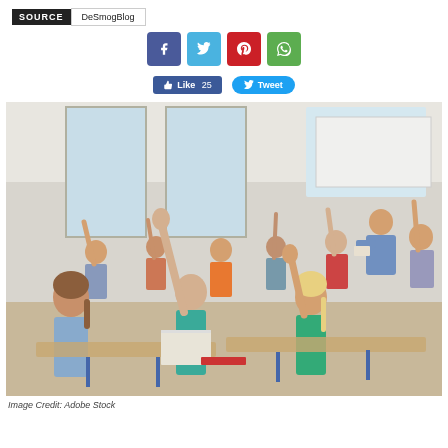SOURCE   DeSmogBlog
[Figure (illustration): Social media share buttons: Facebook (blue), Twitter (light blue), Pinterest (red), WhatsApp (green)]
[Figure (illustration): Like 25 button and Tweet button]
[Figure (photo): Classroom scene with students raising their hands at their desks, teacher standing at the front. Image Credit: Adobe Stock]
Image Credit: Adobe Stock